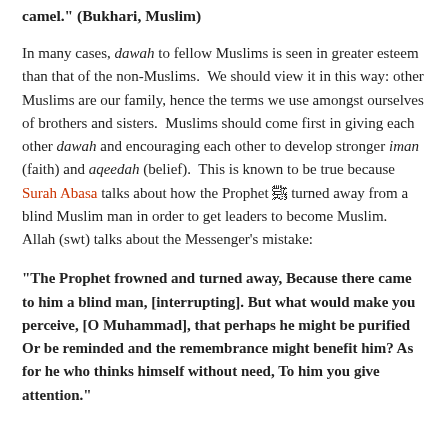camel." (Bukhari, Muslim)
In many cases, dawah to fellow Muslims is seen in greater esteem than that of the non-Muslims. We should view it in this way: other Muslims are our family, hence the terms we use amongst ourselves of brothers and sisters. Muslims should come first in giving each other dawah and encouraging each other to develop stronger iman (faith) and aqeedah (belief). This is known to be true because Surah Abasa talks about how the Prophet ﷺ turned away from a blind Muslim man in order to get leaders to become Muslim. Allah (swt) talks about the Messenger's mistake:
“The Prophet frowned and turned away, Because there came to him a blind man, [interrupting]. But what would make you perceive, [O Muhammad], that perhaps he might be purified Or be reminded and the remembrance might benefit him? As for he who thinks himself without need, To him you give attention.”